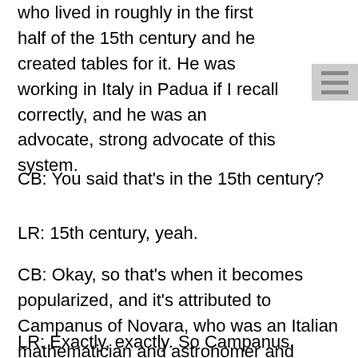who lived in roughly in the first half of the 15th century and he created tables for it. He was working in Italy in Padua if I recall correctly, and he was an advocate, strong advocate of this system.
CB: You said that’s in the 15th century?
LR: 15th century, yeah.
CB: Okay, so that’s when it becomes popularized, and it’s attributed to Campanus of Novara, who was an Italian mathematician and astronomer and astrologer who lived in the 13th century?
LR: Exactly, exactly. So Campanus, although it’s a bit early, it appears more or less at the